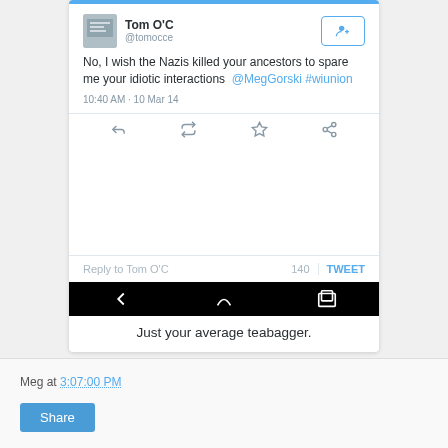[Figure (screenshot): Screenshot of a Twitter mobile app showing a tweet by Tom O'C (@tomocce) reading: 'No, I wish the Nazis killed your ancestors to spare me your idiotic interactions @MegGorski #wiunion' posted at 10:40 AM · 10 Mar 14. Below the tweet is a reply area and Android navigation bar. Caption reads: 'Just your average teabagger.']
Just your average teabagger.
Meg at 3:07:00 PM
Share